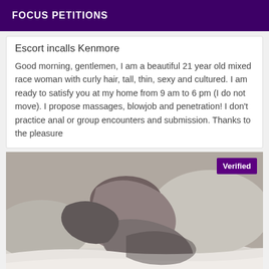FOCUS PETITIONS
Escort incalls Kenmore
Good morning, gentlemen, I am a beautiful 21 year old mixed race woman with curly hair, tall, thin, sexy and cultured. I am ready to satisfy you at my home from 9 am to 6 pm (I do not move). I propose massages, blowjob and penetration! I don't practice anal or group encounters and submission. Thanks to the pleasure
[Figure (photo): Black and white photo of a person lying on a bed with white sheets and pillows. A purple 'Verified' badge overlays the top right corner.]